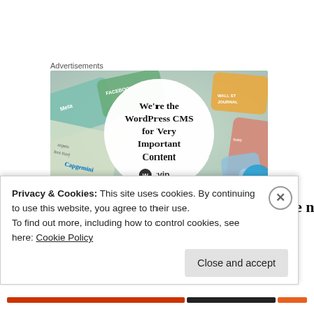Advertisements
[Figure (illustration): WordPress VIP advertisement showing 'We're the WordPress CMS for Very Important Content' text inside a white circle, surrounded by colorful brand cards (Meta, Facebook, Capgemini, Salesforce logos) in a collage background]
I know the ladies are working on getting the new cake
Privacy & Cookies: This site uses cookies. By continuing to use this website, you agree to their use.
To find out more, including how to control cookies, see here: Cookie Policy
Close and accept